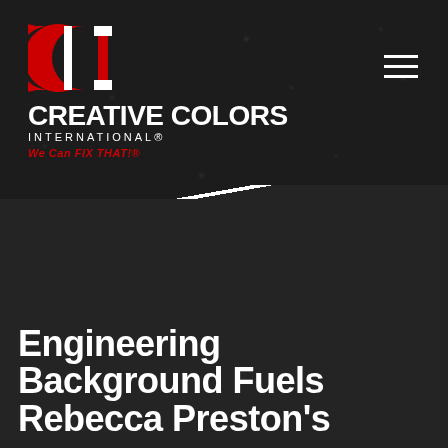[Figure (logo): Creative Colors International logo with CCI emblem in red and white on dark leather texture background, tagline 'We Can FIX THAT!']
Engineering Background Fuels Rebecca Preston's